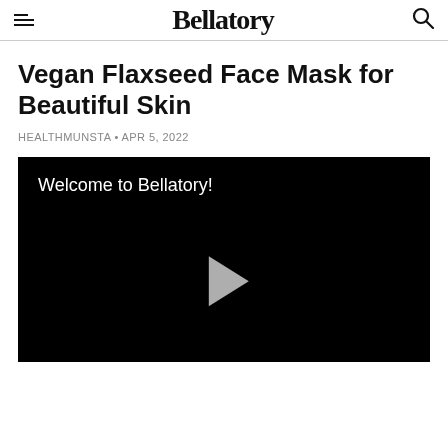Bellatory
Vegan Flaxseed Face Mask for Beautiful Skin
HEALTHMUNSTA • APR 5, 2022
[Figure (screenshot): Black video player thumbnail with text 'Welcome to Bellatory!' and a play button in the center.]